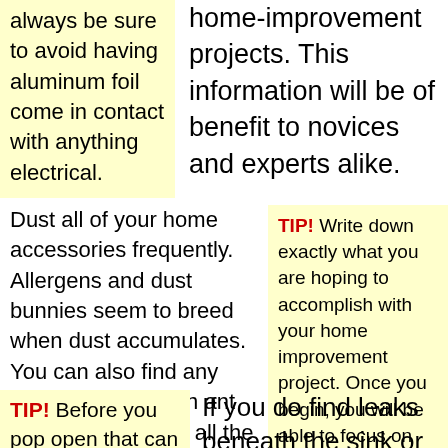always be sure to avoid having aluminum foil come in contact with anything electrical.
home-improvement projects. This information will be of benefit to novices and experts alike.
Dust all of your home accessories frequently. Allergens and dust bunnies seem to breed when dust accumulates. You can also find any insect problem with ant or fleas by dusting all the areas of your home on a weekly basis.
TIP! Write down exactly what you are hoping to accomplish with your home improvement project. Once you begin, you will be able to focus on accomplishing the real gritty work, as the design details are already accounted for.
TIP! Before you pop open that can of paint
If you do find leaks beneath the sink or the faucet, avoid